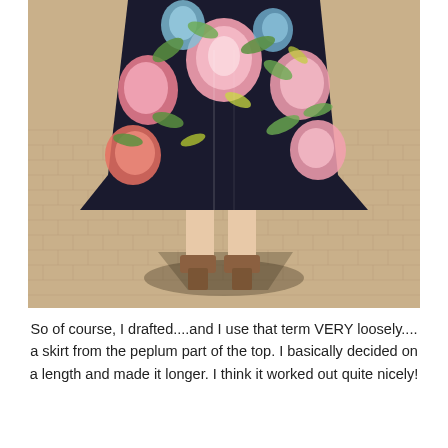[Figure (photo): Back view of a person wearing a floral midi skirt with pink, blue, and green flowers on a dark background, standing on a brick pavement wearing brown heeled sandals. The shadow is visible on the ground.]
So of course, I drafted....and I use that term VERY loosely.... a skirt from the peplum part of the top. I basically decided on a length and made it longer. I think it worked out quite nicely!